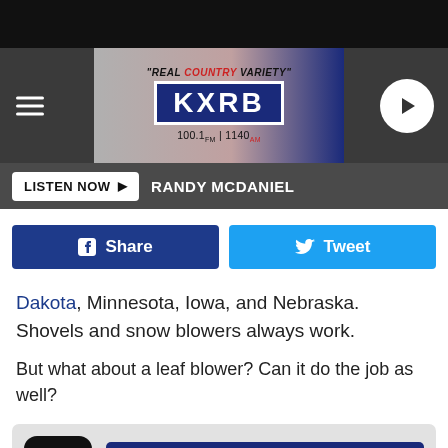[Figure (screenshot): KXRB radio station website header with logo, hamburger menu, play button, and 'Real Country Variety' tagline]
LISTEN NOW ▶  RANDY MCDANIEL
[Figure (other): Facebook Share and Twitter Tweet social sharing buttons]
Dakota, Minnesota, Iowa, and Nebraska. Shovels and snow blowers always work.
But what about a leaf blower? Can it do the job as well?
[Figure (other): GET OUR FREE MOBILE APP promotional banner with KXRB app icon]